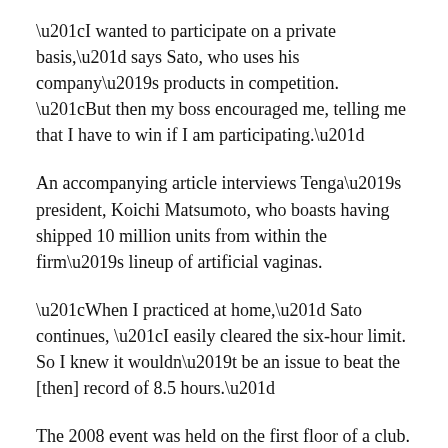“I wanted to participate on a private basis,” says Sato, who uses his company’s products in competition. “But then my boss encouraged me, telling me that I have to win if I am participating.”
An accompanying article interviews Tenga’s president, Koichi Matsumoto, who boasts having shipped 10 million units from within the firm’s lineup of artificial vaginas.
“When I practiced at home,” Sato continues, “I easily cleared the six-hour limit. So I knew it wouldn’t be an issue to beat the [then] record of 8.5 hours.”
The 2008 event was held on the first floor of a club. Strip shows were carried out on stage while porn films were displayed on a screen. The crowd contained a mix of both sexes.